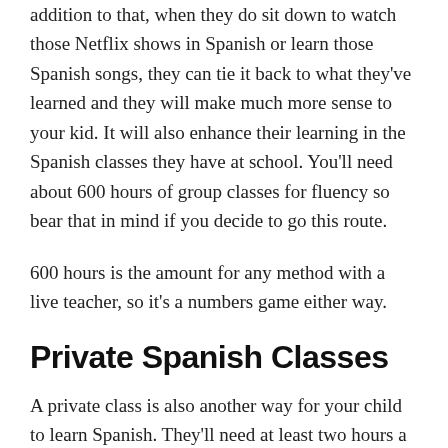addition to that, when they do sit down to watch those Netflix shows in Spanish or learn those Spanish songs, they can tie it back to what they've learned and they will make much more sense to your kid. It will also enhance their learning in the Spanish classes they have at school. You'll need about 600 hours of group classes for fluency so bear that in mind if you decide to go this route.
600 hours is the amount for any method with a live teacher, so it's a numbers game either way.
Private Spanish Classes
A private class is also another way for your child to learn Spanish. They'll need at least two hours a week for three years which is around 300 hours. This gives a low level basic fluency, NOT native fluency. 600